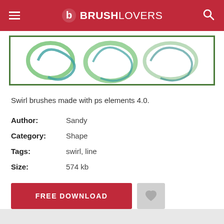BRUSHLOVERS
[Figure (illustration): Swirl brush preview image showing green and teal swirl shapes on white background with green border]
Swirl brushes made with ps elements 4.0.
| Author: | Sandy |
| Category: | Shape |
| Tags: | swirl, line |
| Size: | 574 kb |
FREE DOWNLOAD